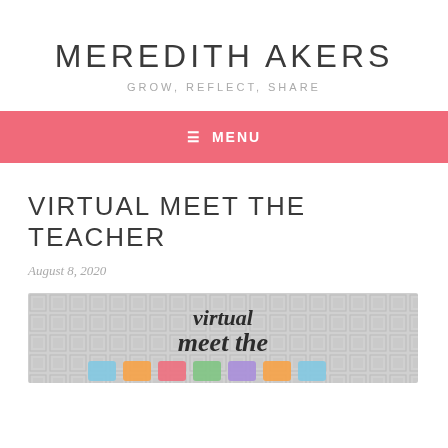MEREDITH AKERS
GROW, REFLECT, SHARE
≡ MENU
VIRTUAL MEET THE TEACHER
August 8, 2020
[Figure (illustration): Decorative image with text reading 'virtual meet the teacher' on a gray geometric pattern background with colorful block letters]